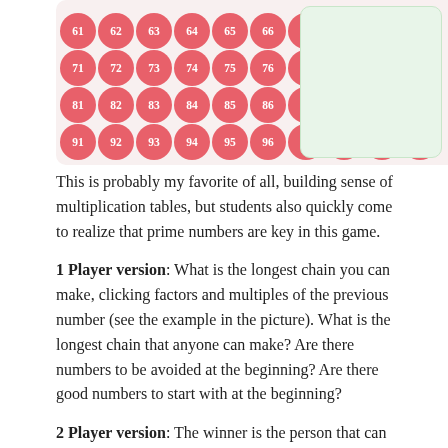[Figure (illustration): A 100-number grid with pink circles numbered 61-100, some missing (88 blank), and a green rounded rectangle on the right side.]
This is probably my favorite of all, building sense of multiplication tables, but students also quickly come to realize that prime numbers are key in this game.
1 Player version: What is the longest chain you can make, clicking factors and multiples of the previous number (see the example in the picture). What is the longest chain that anyone can make? Are there numbers to be avoided at the beginning? Are there good numbers to start with at the beginning?
2 Player version: The winner is the person that can force the other player not to be able to build on the chain, cutting off all possible factors and multiples. Again, are there good numbers to start with? What are the key numbers to